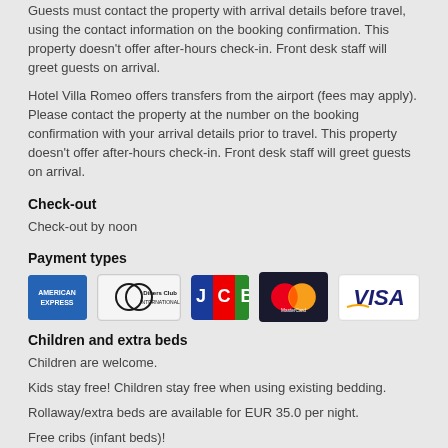Guests must contact the property with arrival details before travel, using the contact information on the booking confirmation. This property doesn't offer after-hours check-in. Front desk staff will greet guests on arrival.
Hotel Villa Romeo offers transfers from the airport (fees may apply). Please contact the property at the number on the booking confirmation with your arrival details prior to travel. This property doesn't offer after-hours check-in. Front desk staff will greet guests on arrival.
Check-out
Check-out by noon
Payment types
[Figure (logo): Payment card logos: American Express, Diners Club International, JCB, MasterCard, VISA]
Children and extra beds
Children are welcome.
Kids stay free! Children stay free when using existing bedding.
Rollaway/extra beds are available for EUR 35.0 per night.
Free cribs (infant beds)!